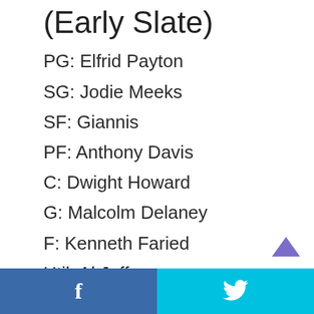(Early Slate)
PG: Elfrid Payton
SG: Jodie Meeks
SF: Giannis
PF: Anthony Davis
C: Dwight Howard
G: Malcolm Delaney
F: Kenneth Faried
Util: Al Jefferson
Facebook share | Twitter share